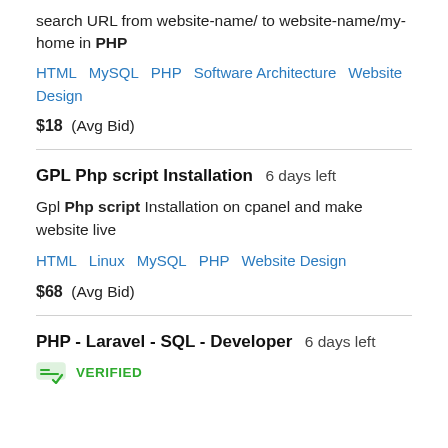search URL from website-name/ to website-name/my-home in PHP
HTML   MySQL   PHP   Software Architecture   Website Design
$18  (Avg Bid)
GPL Php script Installation  6 days left
Gpl Php script Installation on cpanel and make website live
HTML   Linux   MySQL   PHP   Website Design
$68  (Avg Bid)
PHP - Laravel - SQL - Developer  6 days left
VERIFIED